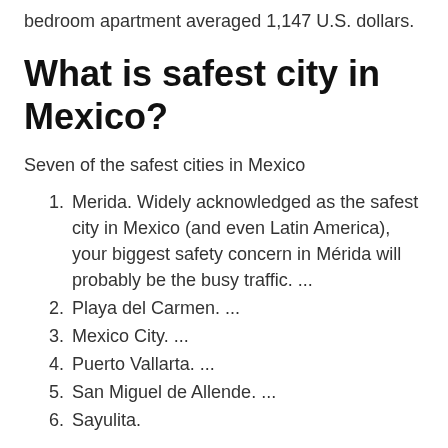bedroom apartment averaged 1,147 U.S. dollars.
What is safest city in Mexico?
Seven of the safest cities in Mexico
Merida. Widely acknowledged as the safest city in Mexico (and even Latin America), your biggest safety concern in Mérida will probably be the busy traffic. ...
Playa del Carmen. ...
Mexico City. ...
Puerto Vallarta. ...
San Miguel de Allende. ...
Sayulita.